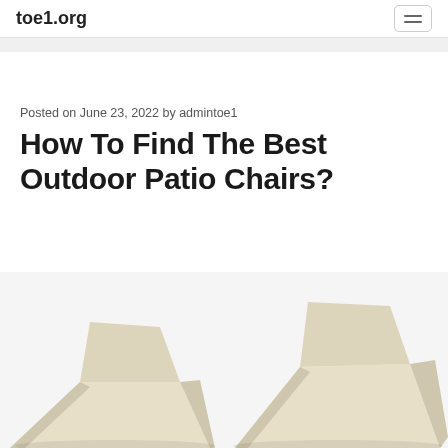toe1.org
Posted on June 23, 2022 by admintoe1
How To Find The Best Outdoor Patio Chairs?
[Figure (photo): Two beige/cream outdoor patio chairs shown side by side at the bottom of the page]